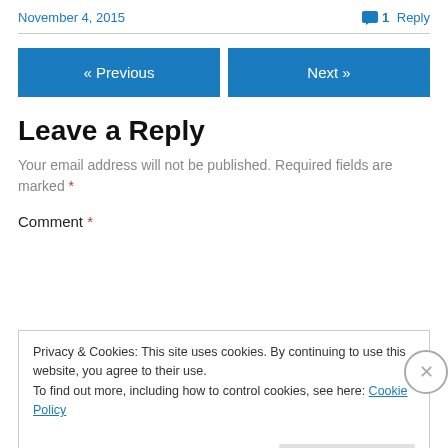November 4, 2015
1 Reply
« Previous
Next »
Leave a Reply
Your email address will not be published. Required fields are marked *
Comment *
Privacy & Cookies: This site uses cookies. By continuing to use this website, you agree to their use.
To find out more, including how to control cookies, see here: Cookie Policy
Close and accept